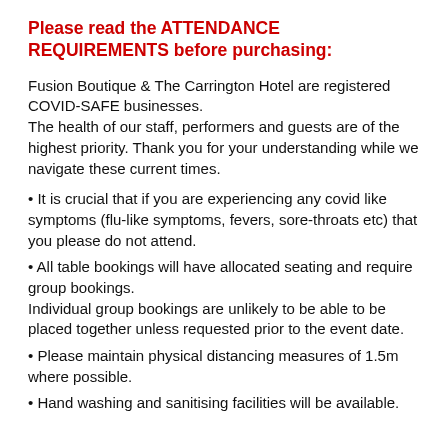Please read the ATTENDANCE REQUIREMENTS before purchasing:
Fusion Boutique & The Carrington Hotel are registered COVID-SAFE businesses.
The health of our staff, performers and guests are of the highest priority. Thank you for your understanding while we navigate these current times.
• It is crucial that if you are experiencing any covid like symptoms (flu-like symptoms, fevers, sore-throats etc) that you please do not attend.
• All table bookings will have allocated seating and require group bookings.
Individual group bookings are unlikely to be able to be placed together unless requested prior to the event date.
• Please maintain physical distancing measures of 1.5m where possible.
• Hand washing and sanitising facilities will be available.